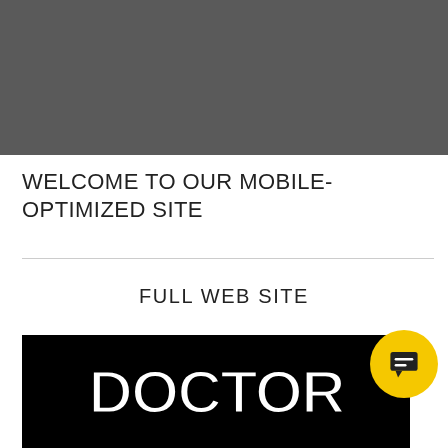[Figure (other): Dark gray banner/header area at top of page]
WELCOME TO OUR MOBILE-OPTIMIZED SITE
FULL WEB SITE
[Figure (logo): Doctor logo in white bubble lettering on black background with yellow chat bubble icon in lower right]